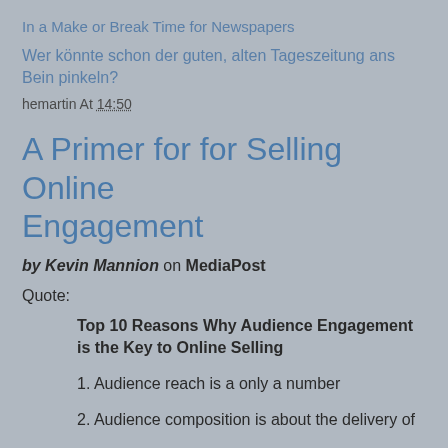In a Make or Break Time for Newspapers
Wer könnte schon der guten, alten Tageszeitung ans Bein pinkeln?
hemartin At 14:50
A Primer for for Selling Online Engagement
by Kevin Mannion on MediaPost
Quote:
Top 10 Reasons Why Audience Engagement is the Key to Online Selling
1. Audience reach is a only a number
2. Audience composition is about the delivery of